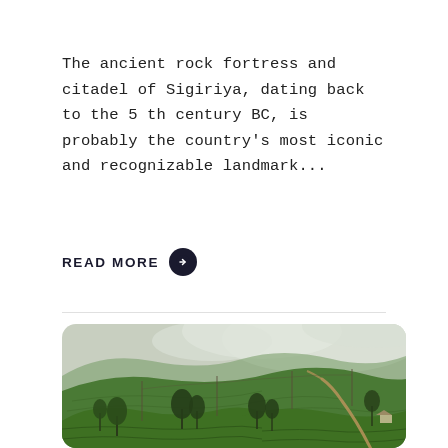The ancient rock fortress and citadel of Sigiriya, dating back to the 5 th century BC, is probably the country's most iconic and recognizable landmark...
READ MORE →
[Figure (photo): Aerial landscape photo of lush green tea plantation hills covered in terraced rows, with tall sparse trees, a winding dirt path, and misty fog over the hilltops in the background.]